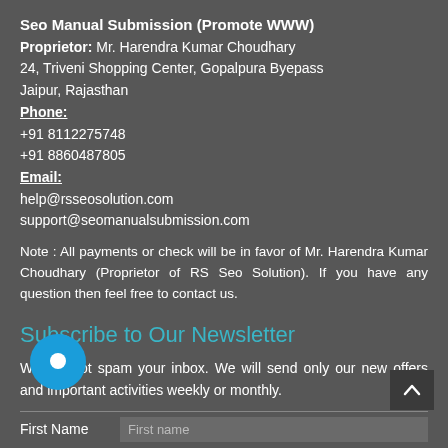Seo Manual Submission (Promote WWW)
Proprietor: Mr. Harendra Kumar Choudhary
24, Triveni Shopping Center, Gopalpura Byepass
Jaipur, Rajasthan
Phone:
+91 8112275748
+91 8860487805
Email:
help@rsseosolution.com
support@seomanualsubmission.com
Note : All payments or check will be in favor of Mr. Harendra Kumar Choudhary (Proprietor of RS Seo Solution). If you have any question then feel free to contact us.
Subscribe to Our Newsletter
We will not spam your inbox. We will send only our new offers and important activities weekly or monthly.
First Name